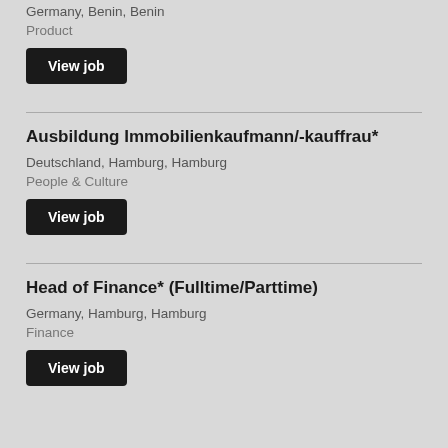Germany, Benin, Benin
Product
View job
Ausbildung Immobilienkaufmann/-kauffrau*
Deutschland, Hamburg, Hamburg
People & Culture
View job
Head of Finance* (Fulltime/Parttime)
Germany, Hamburg, Hamburg
Finance
View job